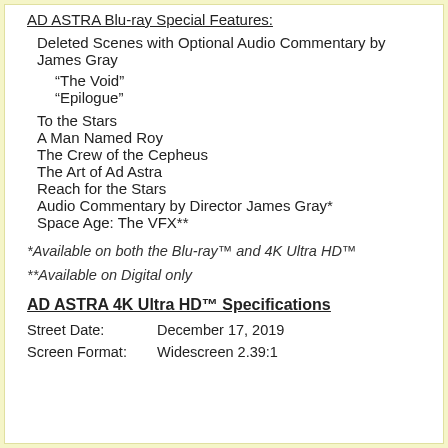AD ASTRA Blu-ray Special Features:
Deleted Scenes with Optional Audio Commentary by James Gray
“The Void”
“Epilogue”
To the Stars
A Man Named Roy
The Crew of the Cepheus
The Art of Ad Astra
Reach for the Stars
Audio Commentary by Director James Gray*
Space Age: The VFX**
*Available on both the Blu-ray™ and 4K Ultra HD™
**Available on Digital only
AD ASTRA 4K Ultra HD™ Specifications
Street Date: December 17, 2019
Screen Format: Widescreen 2.39:1